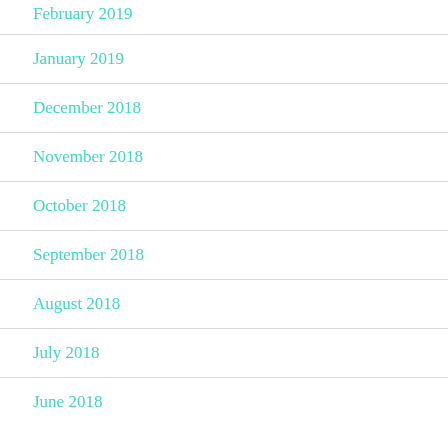February 2019
January 2019
December 2018
November 2018
October 2018
September 2018
August 2018
July 2018
June 2018